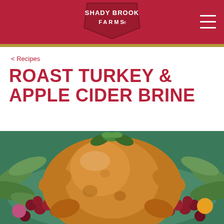SHADY BROOK FARMS
< Recipes
ROAST TURKEY & APPLE CIDER BRINE
[Figure (photo): A golden-brown roast turkey on a platter surrounded by sage leaves, grapes, and fruits, garnished with fresh herbs on top.]